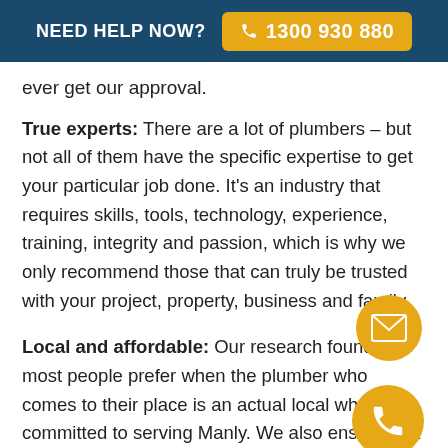NEED HELP NOW?  1300 930 880
ever get our approval.
True experts: There are a lot of plumbers – but not all of them have the specific expertise to get your particular job done. It's an industry that requires skills, tools, technology, experience, training, integrity and passion, which is why we only recommend those that can truly be trusted with your project, property, business and family.
Local and affordable: Our research found that most people prefer when the plumber who comes to their place is an actual local who is committed to serving Manly. We also ensure that our
[Figure (illustration): Gold circle with white envelope/mail icon]
[Figure (illustration): Gold circle with white phone icon]